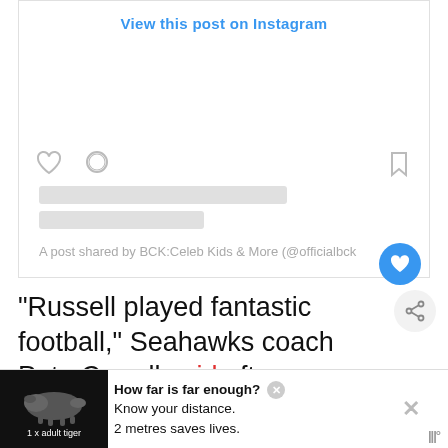[Figure (screenshot): Instagram embed card with 'View this post on Instagram' link, placeholder skeleton lines, heart and comment icons, bookmark icon, and attribution text 'A post shared by BCK:Celeb Kids & More (@officialbck...']
“Russell played fantastic football,” Seahawks coach Pete Carroll said after Sunday’s game. “He got terrific help from the guys catching the football, and the pass protection was really solid as
[Figure (infographic): Advertisement banner with tiger illustration on black background labeled '1 x adult tiger', text 'How far is far enough? Know your distance. 2 metres saves lives.' with close buttons and weather icon]